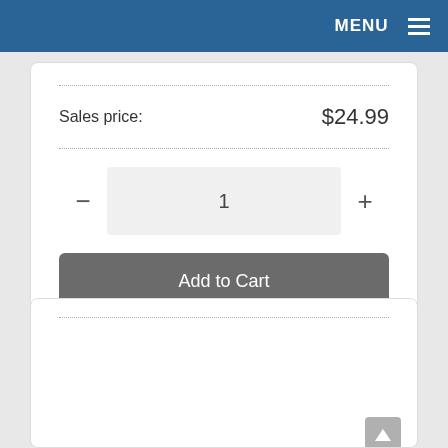MENU
Sales price:  $24.99
1
Add to Cart